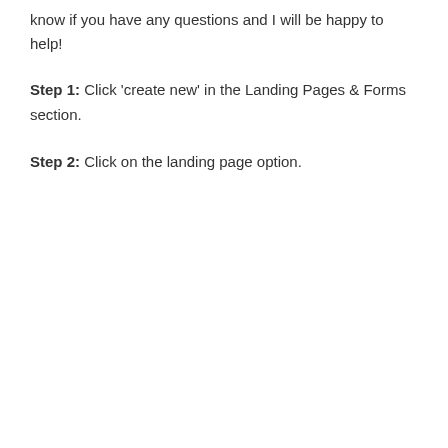know if you have any questions and I will be happy to help!
Step 1: Click 'create new' in the Landing Pages & Forms section.
Step 2: Click on the landing page option.